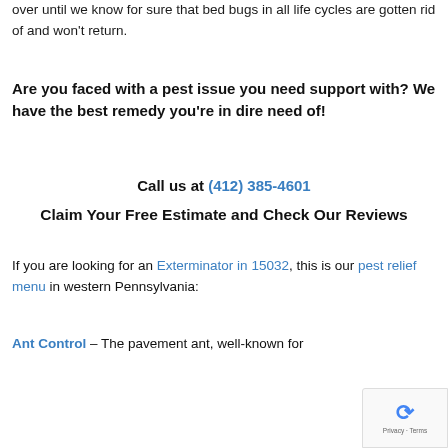over until we know for sure that bed bugs in all life cycles are gotten rid of and won't return.
Are you faced with a pest issue you need support with? We have the best remedy you're in dire need of!
Call us at (412) 385-4601
Claim Your Free Estimate and Check Our Reviews
If you are looking for an Exterminator in 15032, this is our pest relief menu in western Pennsylvania:
Ant Control – The pavement ant, well-known for…